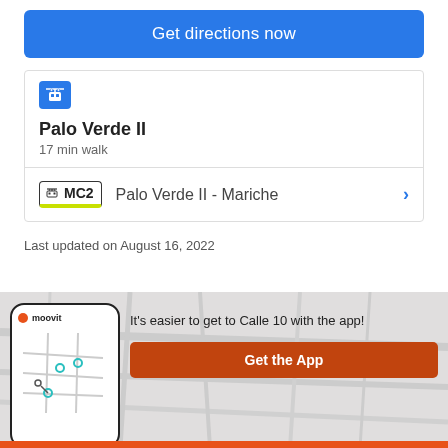Get directions now
Palo Verde II
17 min walk
MC2  Palo Verde II - Mariche
Last updated on August 16, 2022
It's easier to get to Calle 10 with the app!
Get the App